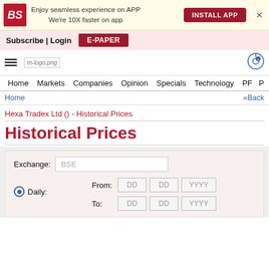[Figure (screenshot): Business Standard app install banner with BS logo, text 'Enjoy seamless experience on APP We're 10X faster on app', INSTALL APP button, and X close button]
Subscribe | Login   E-PAPER
[Figure (logo): m-logo.png site logo and navigation icon]
Home  Markets  Companies  Opinion  Specials  Technology  PF  P
Home   «Back
Hexa Tradex Ltd () - Historical Prices
Historical Prices
Exchange: BSE
Daily:
From: DD DD YYYY
To: DD DD YYYY